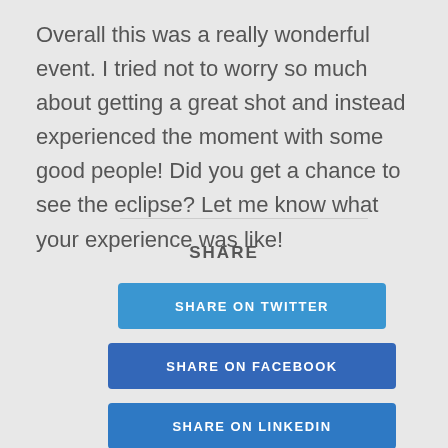Overall this was a really wonderful event. I tried not to worry so much about getting a great shot and instead experienced the moment with some good people! Did you get a chance to see the eclipse? Let me know what your experience was like!
SHARE
SHARE ON TWITTER
SHARE ON FACEBOOK
SHARE ON LINKEDIN